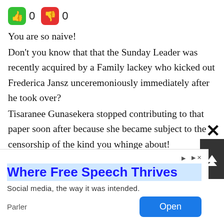[Figure (infographic): Thumbs up (green) icon with count 0, thumbs down (red) icon with count 0]
You are so naive!
Don't you know that that the Sunday Leader was recently acquired by a Family lackey who kicked out Frederica Jansz unceremoniously immediately after he took over?
Tisaranee Gunasekera stopped contributing to that paper soon after because she became subject to the censorship of the kind you whinge about!
Stop writing to the Sunday Leader, because your articles will be probably doctored to expose you as a fan of the Family!
[Figure (screenshot): Advertisement overlay: 'Where Free Speech Thrives' (Parler ad) with Open button, close X button, and scroll up button]